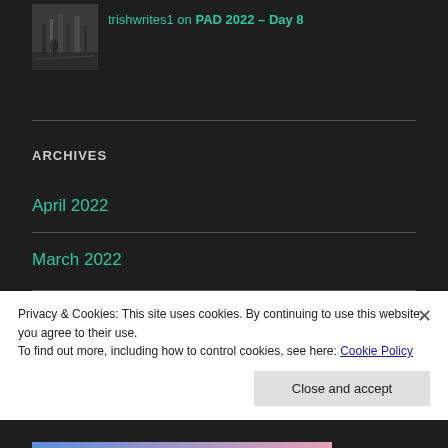[Figure (photo): Small avatar thumbnail photo of a street scene in dark tones]
trishwrites1 on PAD 2022 – Day 8
ARCHIVES
April 2022
March 2022
April 2021
Privacy & Cookies: This site uses cookies. By continuing to use this website, you agree to their use.
To find out more, including how to control cookies, see here: Cookie Policy
Close and accept